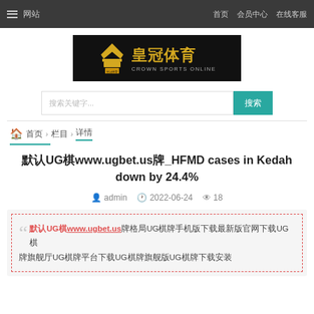☰ 网站   首页  会员中心  在线客服
[Figure (logo): 皇冠体育 Crown Sports Online logo on black background]
搜索关键字... 搜索
🏠 首页 › 栏目 › 详情
默认UG棋www.ugbet.us牌_HFMD cases in Kedah down by 24.4%
admin  2022-06-24  18
默认UG棋www.ugbet.us牌格局UG棋牌手机版下载最新版官网下载UG棋牌旗舰厅UG棋牌平台下载UG棋牌旗舰版UG棋牌下载安装